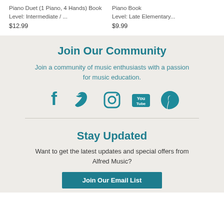Piano Duet (1 Piano, 4 Hands) Book
Level: Intermediate / ...
$12.99
Piano Book
Level: Late Elementary...
$9.99
Join Our Community
Join a community of music enthusiasts with a passion for music education.
[Figure (infographic): Five social media icons: Facebook, Twitter, Instagram, YouTube, Pinterest in teal color]
Stay Updated
Want to get the latest updates and special offers from Alfred Music?
Join Our Email List